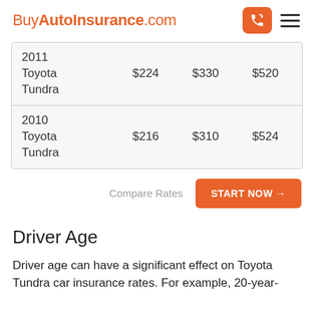BuyAutoInsurance.com
| Vehicle | Price 1 | Price 2 | Price 3 |
| --- | --- | --- | --- |
| 2011 Toyota Tundra | $224 | $330 | $520 |
| 2010 Toyota Tundra | $216 | $310 | $524 |
Compare Rates  START NOW →
Driver Age
Driver age can have a significant effect on Toyota Tundra car insurance rates. For example, 20-year-